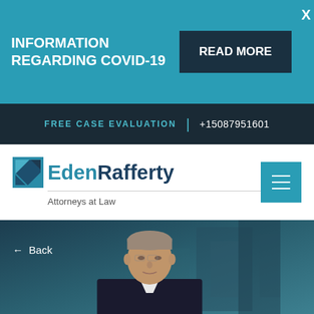INFORMATION REGARDING COVID-19
READ MORE
X
FREE CASE EVALUATION | +15087951601
[Figure (logo): EdenRafferty Attorneys at Law logo with geometric teal/navy square icon]
← Back
[Figure (photo): Professional headshot of a middle-aged man in a dark suit against a blurred dark teal office background]